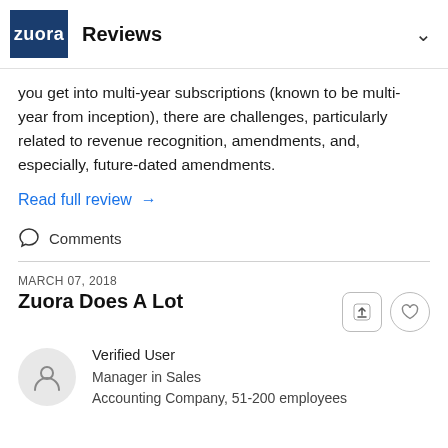Zuora Reviews
you get into multi-year subscriptions (known to be multi-year from inception), there are challenges, particularly related to revenue recognition, amendments, and, especially, future-dated amendments.
Read full review →
Comments
MARCH 07, 2018
Zuora Does A Lot
Verified User
Manager in Sales
Accounting Company, 51-200 employees